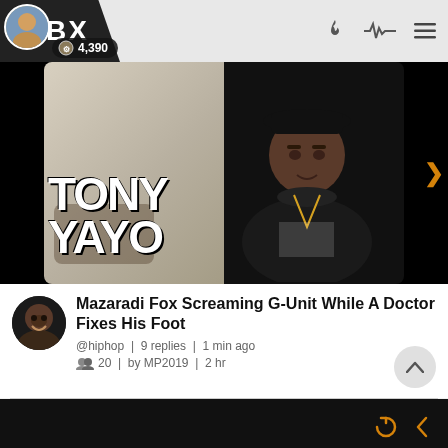BX | 4,390
[Figure (photo): Tony Yayo promotional image with bold white text 'TONY YAYO' overlaid on left side, man in black hoodie and bucket hat on right]
Mazaradi Fox Screaming G-Unit While A Doctor Fixes His Foot
@hiphop | 9 replies | 1 min ago
20 | by MP2019 | 2 hr
[Figure (screenshot): Bottom black bar with orange refresh and back arrow icons]